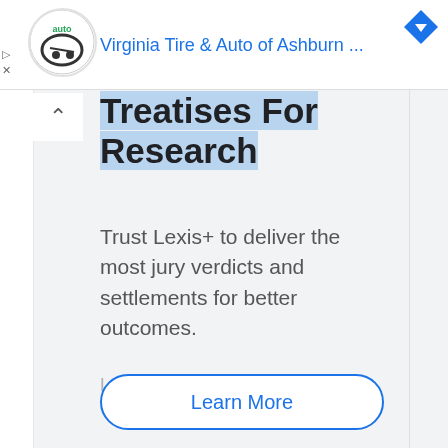Virginia Tire & Auto of Ashburn ...
Treatises For Research
Trust Lexis+ to deliver the most jury verdicts and settlements for better outcomes.
Lexis Nexis
Learn More